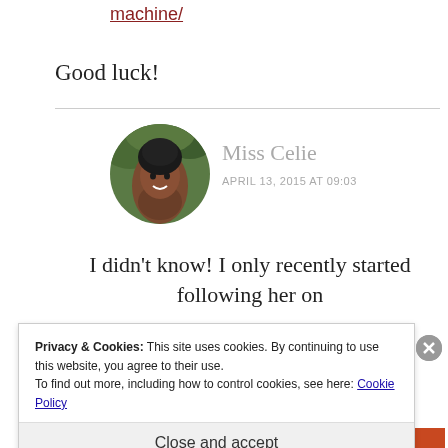machine/
Good luck!
[Figure (photo): Circular avatar photo of Miss Celie, a smiling woman, against a green leafy background]
Miss Celie
APRIL 13, 2015 AT 09:03
I didn't know! I only recently started following her on
Privacy & Cookies: This site uses cookies. By continuing to use this website, you agree to their use.
To find out more, including how to control cookies, see here: Cookie Policy
Close and accept